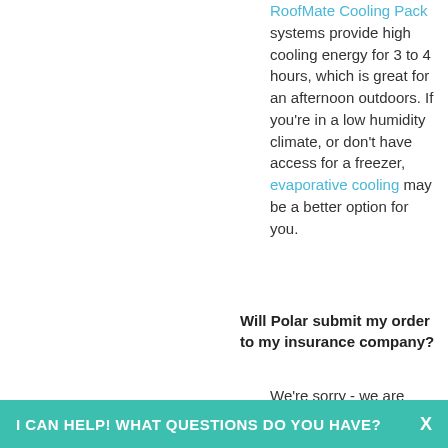RoofMate Cooling Pack systems provide high cooling energy for 3 to 4 hours, which is great for an afternoon outdoors. If you're in a low humidity climate, or don't have access for a freezer, evaporative cooling may be a better option for you.
Will Polar submit my order to my insurance company?
We're sorry - we are currently unable to work with insurance
I CAN HELP! WHAT QUESTIONS DO YOU HAVE?   X